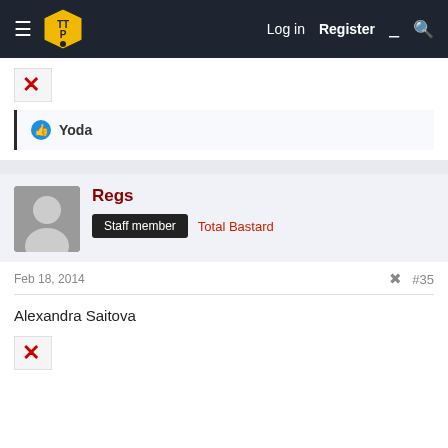TTP forum navigation — Log in  Register
[Figure (illustration): Broken image placeholder with red X]
👍 Yoda
Regs — Staff member — Total Bastard
Feb 18, 2014  #35
Alexandra Saitova
[Figure (illustration): Broken image placeholder with red X]